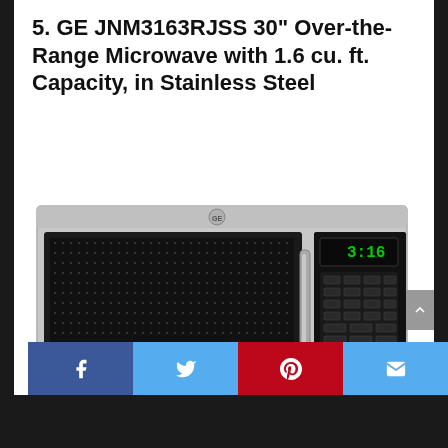5. GE JNM3163RJSS 30" Over-the-Range Microwave with 1.6 cu. ft. Capacity, in Stainless Steel
[Figure (photo): Photo of GE JNM3163RJSS stainless steel over-the-range microwave with black door panel, GE logo on top center, chrome handle, and digital display showing 3:16 on right control panel with keypad buttons.]
Social sharing bar with Facebook, Twitter, Pinterest, and email icons